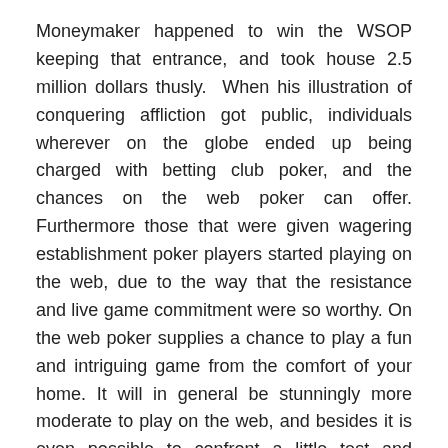Moneymaker happened to win the WSOP keeping that entrance, and took house 2.5 million dollars thusly. When his illustration of conquering affliction got public, individuals wherever on the globe ended up being charged with betting club poker, and the chances on the web poker can offer. Furthermore those that were given wagering establishment poker players started playing on the web, due to the way that the resistance and live game commitment were so worthy. On the web poker supplies a chance to play a fun and intriguing game from the comfort of your home. It will in general be stunningly more moderate to play on the web, and besides it is even possible to confront a little test and change it straightforwardly into truly huge money. Chris Moneymaker was quick to do it, at this point